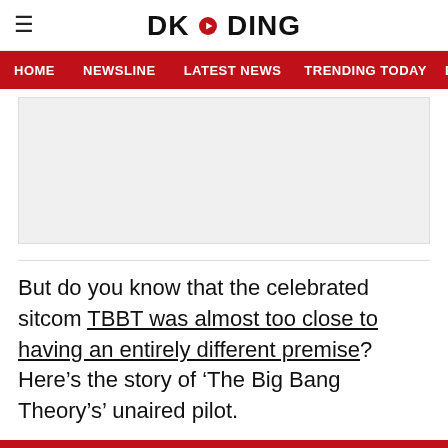DKODING
HOME   NEWSLINE   LATEST NEWS   TRENDING TODAY   ENT
[Figure (other): Gray advertisement placeholder box]
But do you know that the celebrated sitcom TBBT was almost too close to having an entirely different premise? Here's the story of 'The Big Bang Theory's' unaired pilot.